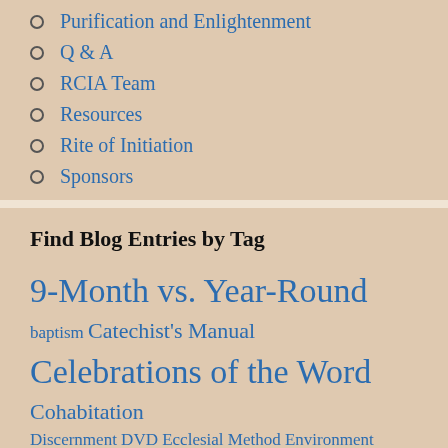Purification and Enlightenment
Q & A
RCIA Team
Resources
Rite of Initiation
Sponsors
Find Blog Entries by Tag
9-Month vs. Year-Round baptism Catechist's Manual Celebrations of the Word Cohabitation Discernment DVD Ecclesial Method Environment Godparents Hierarchy of Truths Introduction to the RCIA Lending Library Liturgical Rites normative guidelines Overview Chart